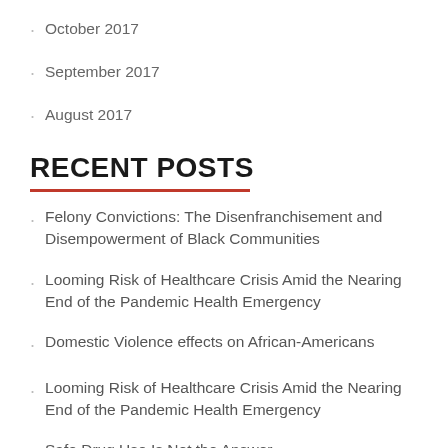October 2017
September 2017
August 2017
RECENT POSTS
Felony Convictions: The Disenfranchisement and Disempowerment of Black Communities
Looming Risk of Healthcare Crisis Amid the Nearing End of the Pandemic Health Emergency
Domestic Violence effects on African-Americans
Looming Risk of Healthcare Crisis Amid the Nearing End of the Pandemic Health Emergency
Safe Drug Use Is Not the Answer